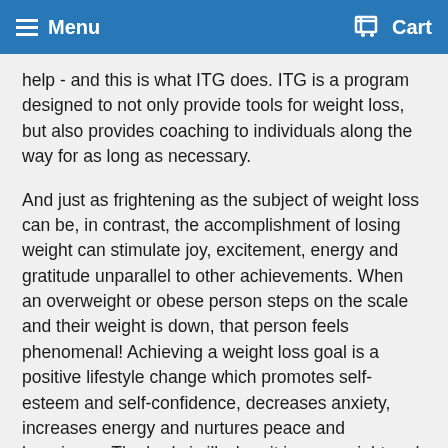Menu  Cart
help - and this is what ITG does. ITG is a program designed to not only provide tools for weight loss, but also provides coaching to individuals along the way for as long as necessary.
And just as frightening as the subject of weight loss can be, in contrast, the accomplishment of losing weight can stimulate joy, excitement, energy and gratitude unparallel to other achievements. When an overweight or obese person steps on the scale and their weight is down, that person feels phenomenal! Achieving a weight loss goal is a positive lifestyle change which promotes self-esteem and self-confidence, decreases anxiety, increases energy and nurtures peace and happiness. The body is ill when it is overweight and obese and as an individual moves closer to his or her recommended BMI the body begins to heal. A healthy body weight promotes a healthy well-being, improves relationships and prevents physical and mental illness.
Where the mind leads, the body will follow. Without sound mind, ...